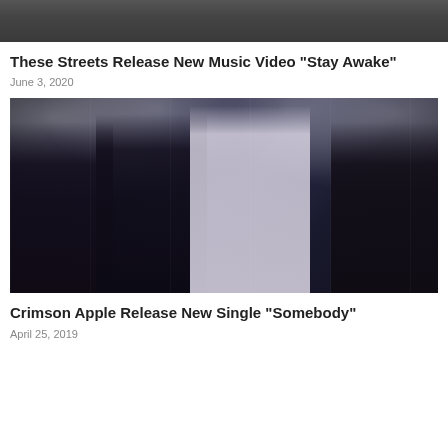[Figure (photo): Partial photo of a band/group of people, cropped at top of page (only lower portion visible showing legs/ground)]
These Streets Release New Music Video “Stay Awake”
June 3, 2020
[Figure (photo): Photo of four young women posing together in front of mirrored panels with bright stage lights in the background. From left to right: woman with long dark hair in black crop top and white pants; woman with curly dark hair in black lace top; woman with long blonde hair in white shirt with black corset belt; woman with pink hair in black dungarees.]
Crimson Apple Release New Single “Somebody”
April 25, 2019